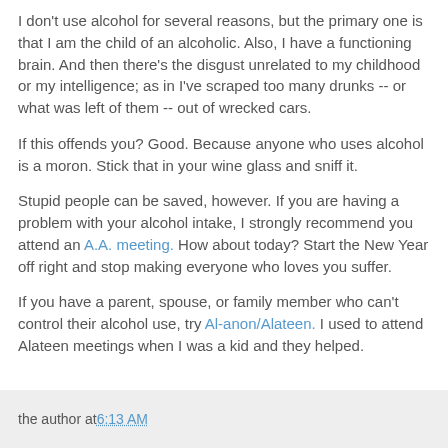I don't use alcohol for several reasons, but the primary one is that I am the child of an alcoholic. Also, I have a functioning brain. And then there's the disgust unrelated to my childhood or my intelligence; as in I've scraped too many drunks -- or what was left of them -- out of wrecked cars.
If this offends you? Good. Because anyone who uses alcohol is a moron. Stick that in your wine glass and sniff it.
Stupid people can be saved, however. If you are having a problem with your alcohol intake, I strongly recommend you attend an A.A. meeting. How about today? Start the New Year off right and stop making everyone who loves you suffer.
If you have a parent, spouse, or family member who can't control their alcohol use, try Al-anon/Alateen. I used to attend Alateen meetings when I was a kid and they helped.
the author at 6:13 AM